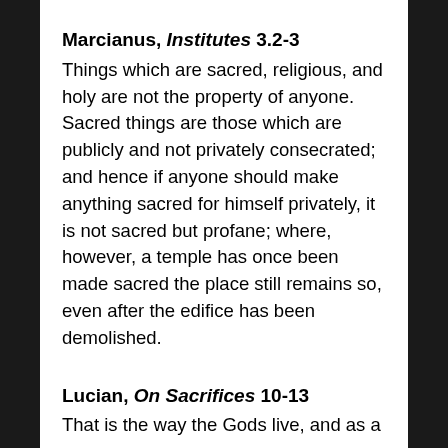Marcianus, Institutes 3.2-3
Things which are sacred, religious, and holy are not the property of anyone. Sacred things are those which are publicly and not privately consecrated; and hence if anyone should make anything sacred for himself privately, it is not sacred but profane; where, however, a temple has once been made sacred the place still remains so, even after the edifice has been demolished.
Lucian, On Sacrifices 10-13
That is the way the Gods live, and as a